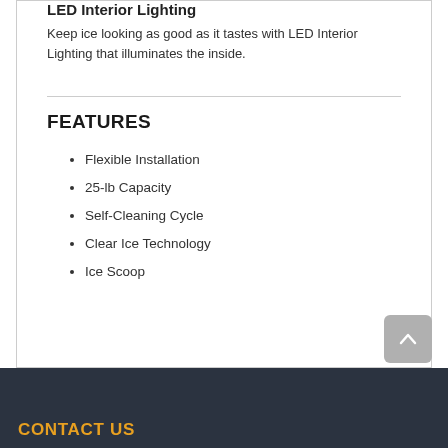LED Interior Lighting
Keep ice looking as good as it tastes with LED Interior Lighting that illuminates the inside.
FEATURES
Flexible Installation
25-lb Capacity
Self-Cleaning Cycle
Clear Ice Technology
Ice Scoop
CONTACT US